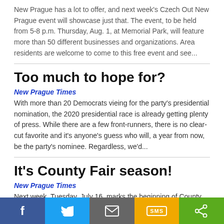New Prague has a lot to offer, and next week's Czech Out New Prague event will showcase just that. The event, to be held from 5-8 p.m. Thursday, Aug. 1, at Memorial Park, will feature more than 50 different businesses and organizations. Area residents are welcome to come to this free event and see...
Too much to hope for?
New Prague Times
With more than 20 Democrats vieing for the party's presidential nomination, the 2020 presidential race is already getting plenty of press. While there are a few front-runners, there is no clear-cut favorite and it's anyone's guess who will, a year from now, be the party's nominee. Regardless, we'd...
It's County Fair season!
New Prague Times
Next week, Tuesday, July 16, marks the beginning of County Fair season in the area. The Rice County Fair begins its six-day run in Faribault. The Scott County Fair will be held a week later, starting Wednesday, July 24, for five days in Jordan, and the Le Sueur County Fair will be held three weeks...